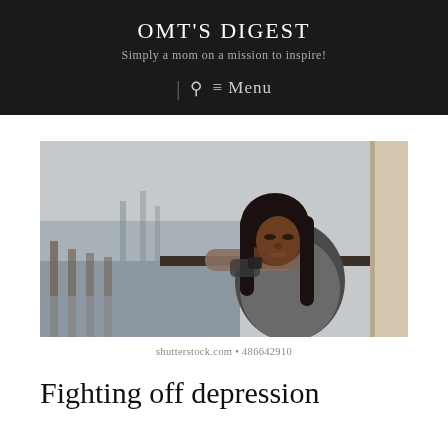OMT'S DIGEST
Simply a mom on a mission to inspire!
[Figure (photo): Young Black woman leaning her head on her crossed arms on a railing, looking sad or pensive. Background shows a waterfront dock area, muted grey tones.]
shutterstock.com • 486642910
Fighting off depression